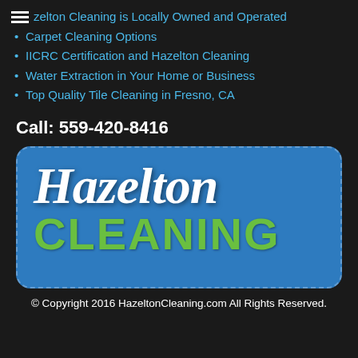Hazelton Cleaning is Locally Owned and Operated
Carpet Cleaning Options
IICRC Certification and Hazelton Cleaning
Water Extraction in Your Home or Business
Top Quality Tile Cleaning in Fresno, CA
Call: 559-420-8416
[Figure (logo): Hazelton Cleaning logo — blue rounded rectangle badge with 'Hazelton' in white cursive script and 'CLEANING' in large bold green uppercase letters below]
© Copyright 2016 HazeltonCleaning.com All Rights Reserved.